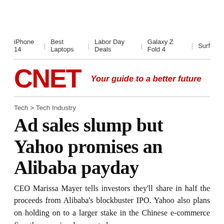iPhone 14 | Best Laptops | Labor Day Deals | Galaxy Z Fold 4 | Surf
[Figure (logo): CNET logo in red bold text with tagline 'Your guide to a better future' in red italic]
Tech > Tech Industry
Ad sales slump but Yahoo promises an Alibaba payday
CEO Marissa Mayer tells investors they'll share in half the proceeds from Alibaba's blockbuster IPO. Yahoo also plans on holding on to a larger stake in the Chinese e-commerce firm than previously reported.